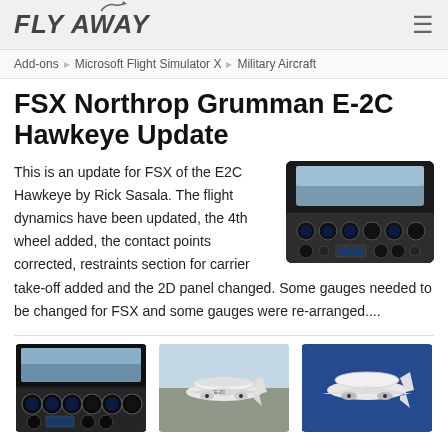FLY AWAY
Add-ons / Microsoft Flight Simulator X / Military Aircraft
FSX Northrop Grumman E-2C Hawkeye Update
This is an update for FSX of the E2C Hawkeye by Rick Sasala. The flight dynamics have been updated, the 4th wheel added, the contact points corrected, restraints section for carrier take-off added and the 2D panel changed. Some gauges needed to be changed for FSX and some gauges were re-arranged....
[Figure (screenshot): Cockpit interior screenshot of E-2C Hawkeye flight simulator panel]
[Figure (screenshot): E-2C Hawkeye aircraft on tarmac, top-down view showing rotodome]
[Figure (screenshot): E-2C Hawkeye aerial view from above on blue background]
[Figure (screenshot): E-2C Hawkeye aircraft aerial view against blue sky]